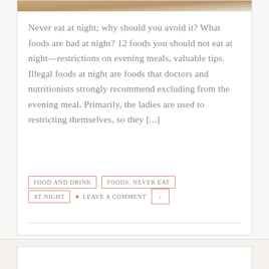[Figure (photo): Partial image strip at top of card showing food/meal photograph cropped to a thin horizontal band]
Never eat at night; why should you avoid it? What foods are bad at night? 12 foods you should not eat at night—restrictions on evening meals, valuable tips. Illegal foods at night are foods that doctors and nutritionists strongly recommend excluding from the evening meal. Primarily, the ladies are used to restricting themselves, so they [...]
FOOD AND DRINK
FOODS, NEVER EAT AT NIGHT
LEAVE A COMMENT